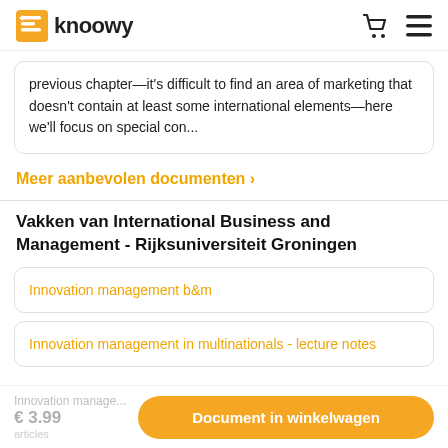knoowy
previous chapter—it's difficult to find an area of marketing that doesn't contain at least some international elements—here we'll focus on special con...
Meer aanbevolen documenten ›
Vakken van International Business and Management - Rijksuniversiteit Groningen
Innovation management b&m
Innovation management in multinationals - lecture notes
Innovation manage...
€ 3.99
Document in winkelwagen